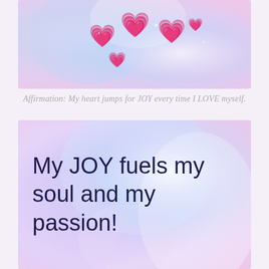[Figure (illustration): Holographic pastel blue and pink swirled background with pink heart emojis scattered across it]
Affirmation: My heart jumps for JOY every time I LOVE myself.
[Figure (illustration): Holographic pastel blue, lavender and pink swirled background with handwritten dark navy text reading 'My JOY fuels my soul and my passion!']